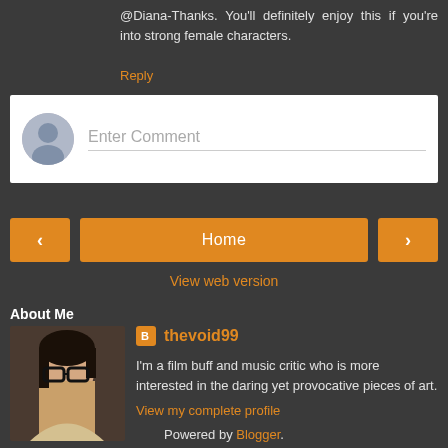@Diana-Thanks. You'll definitely enjoy this if you're into strong female characters.
Reply
Enter Comment
Home
View web version
About Me
[Figure (photo): Profile photo of a young woman with short dark hair and glasses]
thevoid99
I'm a film buff and music critic who is more interested in the daring yet provocative pieces of art.
View my complete profile
Powered by Blogger.